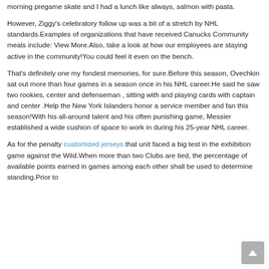morning pregame skate and I had a lunch like always, salmon with pasta.
However, Ziggy's celebratory follow up was a bit of a stretch by NHL standards.Examples of organizations that have received Canucks Community meals include: View More.Also, take a look at how our employees are staying active in the community!You could feel it even on the bench.
That's definitely one my fondest memories, for sure.Before this season, Ovechkin sat out more than four games in a season once in his NHL career.He said he saw two rookies, center and defenseman , sitting with and playing cards with captain and center .Help the New York Islanders honor a service member and fan this season!With his all-around talent and his often punishing game, Messier established a wide cushion of space to work in during his 25-year NHL career.
As for the penalty customized jerseys that unit faced a big test in the exhibition game against the Wild.When more than two Clubs are tied, the percentage of available points earned in games among each other shall be used to determine standing.Prior to